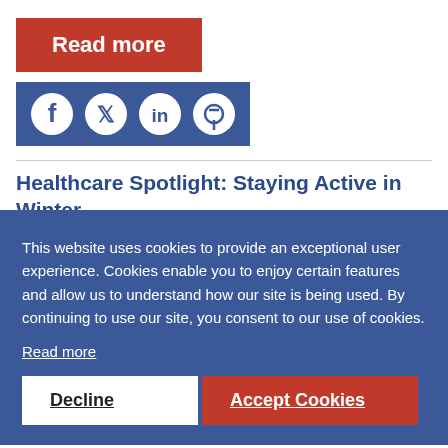Read more
[Figure (other): Social media icons bar with Facebook, Twitter, LinkedIn, and Pinterest icons on a blue background]
Healthcare Spotlight: Staying Active in Winter
This website uses cookies to provide an exceptional user experience. Cookies enable you to enjoy certain features and allow us to understand how our site is being used. By continuing to use our site, you consent to our use of cookies.
Read more
Decline
Accept Cookies
important to maintain regular physical activity, ...